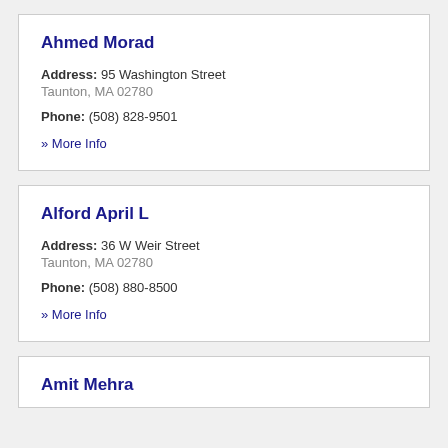Ahmed Morad
Address: 95 Washington Street
Taunton, MA 02780
Phone: (508) 828-9501
» More Info
Alford April L
Address: 36 W Weir Street
Taunton, MA 02780
Phone: (508) 880-8500
» More Info
Amit Mehra